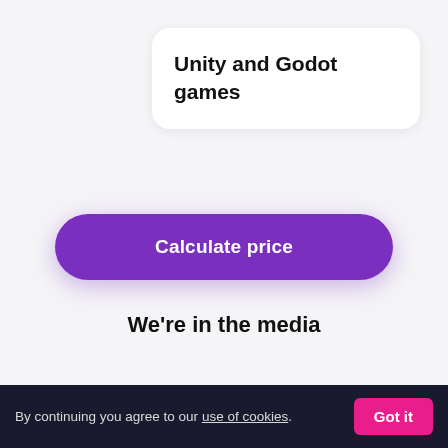Unity and Godot games
Calculate price
We're in the media
#1 business news in
By continuing you agree to our use of cookies. Got it